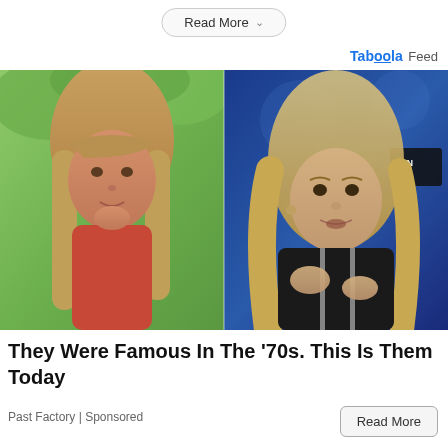Read More
Taboola Feed
[Figure (photo): Side-by-side comparison photo: left side shows a young blonde girl from the 1970s with long hair posing with hand on chin outdoors; right side shows an older blonde woman at what appears to be a 2019 convention event with a CON 2019 badge visible in background]
They Were Famous In The '70s. This Is Them Today
Past Factory | Sponsored
Read More